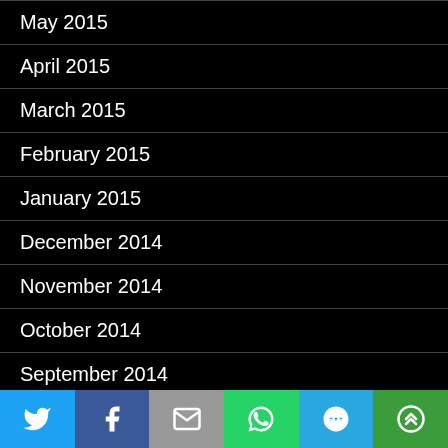May 2015
April 2015
March 2015
February 2015
January 2015
December 2014
November 2014
October 2014
September 2014
August 2014
July 2014
[Figure (infographic): Social sharing bar with Twitter, Facebook, Email, WhatsApp, SMS, and More buttons]